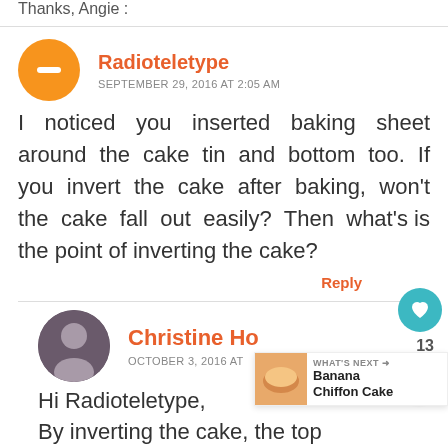Thanks, Angie :
Radioteletype
SEPTEMBER 29, 2016 AT 2:05 AM
I noticed you inserted baking sheet around the cake tin and bottom too. If you invert the cake after baking, won't the cake fall out easily? Then what's is the point of inverting the cake?
Reply
Christine Ho
OCTOBER 3, 2016 AT
Hi Radioteletype,
By inverting the cake, the top
[Figure (infographic): What's Next banner showing Banana Chiffon Cake]
13